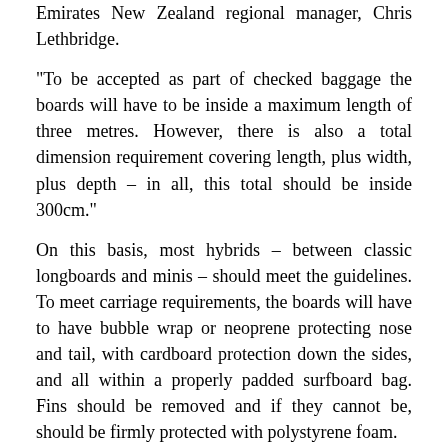Emirates New Zealand regional manager, Chris Lethbridge.
“To be accepted as part of checked baggage the boards will have to be inside a maximum length of three metres. However, there is also a total dimension requirement covering length, plus width, plus depth – in all, this total should be inside 300cm.”
On this basis, most hybrids – between classic longboards and minis – should meet the guidelines. To meet carriage requirements, the boards will have to have bubble wrap or neoprene protecting nose and tail, with cardboard protection down the sides, and all within a properly padded surfboard bag. Fins should be removed and if they cannot be, should be firmly protected with polystyrene foam.
“For surfers who love their boards, none of this should be an issue,” said Chris Lethbridge.
The new Emirates service, operating from Auckland to Bali and on to Dubai, will start in mid-June. The daily flight will be in addition to the current non-stop daily A380 between Auckland and Dubai and beyond. Boeing 777-300ERs offering First, Business and Economy Class will fly on the new route. It will be